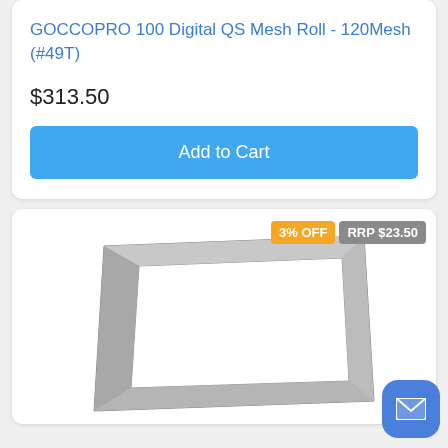GOCCOPRO 100 Digital QS Mesh Roll - 120Mesh (#49T)
$313.50
Add to Cart
[Figure (photo): A gray rectangular screen printing mesh frame, shown at an angle on a white background. Discount badges: 3% OFF and RRP $23.50 displayed in top-right corner.]